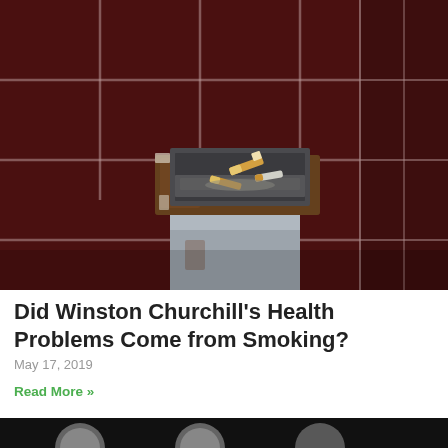[Figure (photo): A rusted wall-mounted ashtray filled with cigarette butts, mounted against dark brown/maroon ceramic tiles. The ashtray is heavily corroded and contains several cigarette stubs.]
Did Winston Churchill's Health Problems Come from Smoking?
May 17, 2019
Read More »
[Figure (photo): Partial view of the top of another image (dark background with round metallic objects visible at the bottom of the page).]